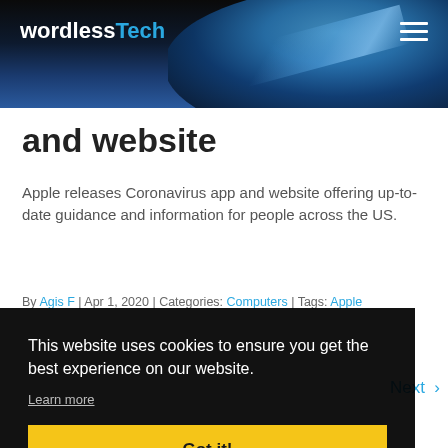wordlessTech
and website
Apple releases Coronavirus app and website offering up-to-date guidance and information for people across the US.
By Agis F | Apr 1, 2020 | Categories: Computers | Tags: Apple
This website uses cookies to ensure you get the best experience on our website.
Learn more
Got it!